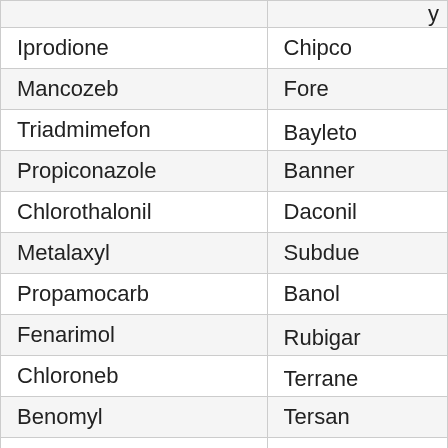| Active Ingredient | Trade Name |
| --- | --- |
| Iprodione | Chipco |
| Mancozeb | Fore |
| Triadmimefon | Bayleton |
| Propiconazole | Banner |
| Chlorothalonil | Daconil |
| Metalaxyl | Subdue |
| Propamocarb | Banol |
| Fenarimol | Rubigan |
| Chloroneb | Terraneb |
| Benomyl | Tersan |
| Maneb | Manzate |